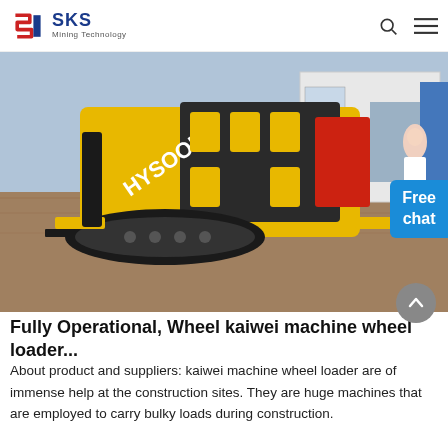SKS Mining Technology
[Figure (photo): Yellow and black Hysoon brand mini skid steer track loader (compact track loader) parked on a dirt surface outdoors, with a building and a person visible in the background.]
Fully Operational, Wheel kaiwei machine wheel loader...
About product and suppliers: kaiwei machine wheel loader are of immense help at the construction sites. They are huge machines that are employed to carry bulky loads during construction.